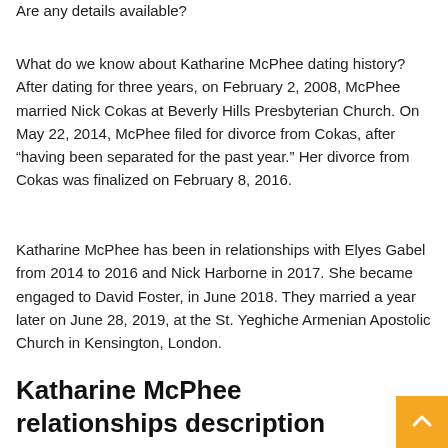Are any details available?
What do we know about Katharine McPhee dating history? After dating for three years, on February 2, 2008, McPhee married Nick Cokas at Beverly Hills Presbyterian Church. On May 22, 2014, McPhee filed for divorce from Cokas, after “having been separated for the past year.” Her divorce from Cokas was finalized on February 8, 2016.
Katharine McPhee has been in relationships with Elyes Gabel from 2014 to 2016 and Nick Harborne in 2017. She became engaged to David Foster, in June 2018. They married a year later on June 28, 2019, at the St. Yeghiche Armenian Apostolic Church in Kensington, London.
Katharine McPhee relationships description